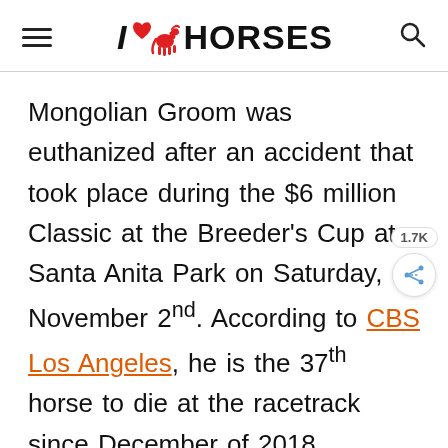I ♥ HORSES
Mongolian Groom was euthanized after an accident that took place during the $6 million Classic at the Breeder's Cup at Santa Anita Park on Saturday, November 2nd. According to CBS Los Angeles, he is the 37th horse to die at the racetrack since December of 2018.